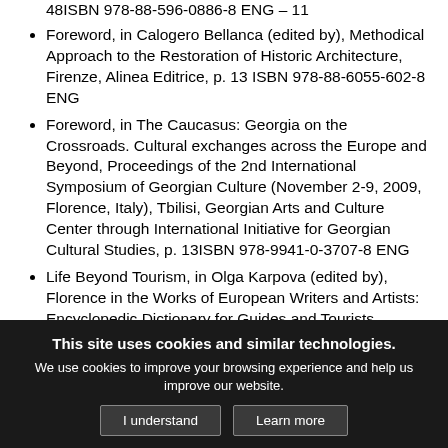48ISBN 978-88-596-0886-8 ENG – 11
Foreword, in Calogero Bellanca (edited by), Methodical Approach to the Restoration of Historic Architecture, Firenze, Alinea Editrice, p. 13 ISBN 978-88-6055-602-8 ENG
Foreword, in The Caucasus: Georgia on the Crossroads. Cultural exchanges across the Europe and Beyond, Proceedings of the 2nd International Symposium of Georgian Culture (November 2-9, 2009, Florence, Italy), Tbilisi, Georgian Arts and Culture Center through International Initiative for Georgian Cultural Studies, p. 13ISBN 978-9941-0-3707-8 ENG
Life Beyond Tourism, in Olga Karpova (edited by), Florence in the Works of European Writers and Artists: Encyclopedic Dictionary for Guides and Tourists. Project
This site uses cookies and similar technologies. We use cookies to improve your browsing experience and help us improve our website.